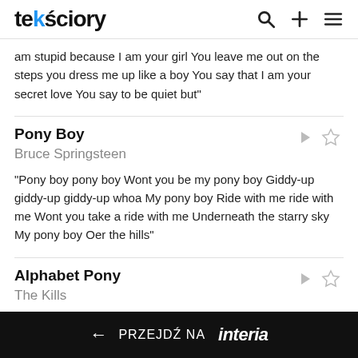tekściory
am stupid because I am your girl You leave me out on the steps you dress me up like a boy You say that I am your secret love You say to be quiet but"
Pony Boy
Bruce Springsteen
"Pony boy pony boy Wont you be my pony boy Giddy-up giddy-up giddy-up whoa My pony boy Ride with me ride with me Wont you take a ride with me Underneath the starry sky My pony boy Oer the hills"
Alphabet Pony
The Kills
"Easy alphabet pony Easy alphabet pony Funny
← PRZEJDŹ NA interia